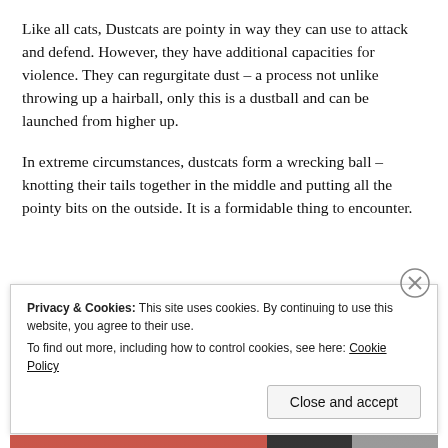Like all cats, Dustcats are pointy in way they can use to attack and defend. However, they have additional capacities for violence. They can regurgitate dust – a process not unlike throwing up a hairball, only this is a dustball and can be launched from higher up.
In extreme circumstances, dustcats form a wrecking ball – knotting their tails together in the middle and putting all the pointy bits on the outside. It is a formidable thing to encounter.
Privacy & Cookies: This site uses cookies. By continuing to use this website, you agree to their use.
To find out more, including how to control cookies, see here: Cookie Policy